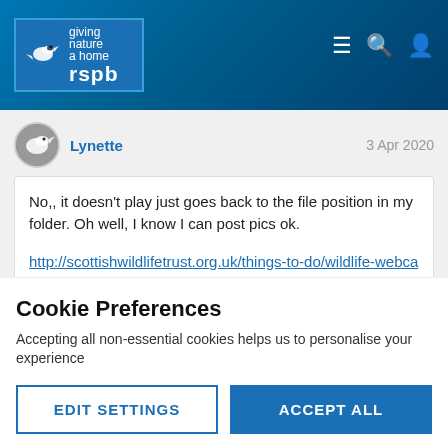[Figure (logo): RSPB logo with bird silhouette and text 'giving nature a home rspb' on blue textured background with navigation icons]
Lynette  3 Apr 2020
No,, it doesn't play just goes back to the file position in my folder. Oh well, I know I can post pics ok.

http://scottishwildlifetrust.org.uk/things-to-do/wildlife-webcams/loch-of-lowes/
Cookie Preferences
Accepting all non-essential cookies helps us to personalise your experience